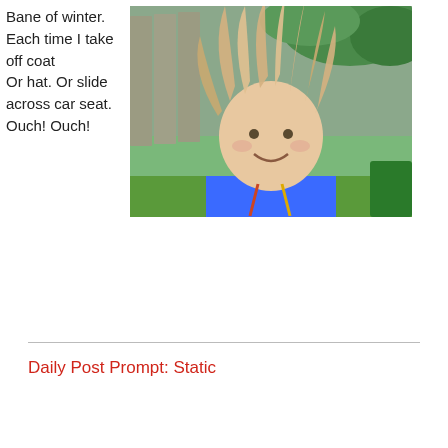Bane of winter. Each time I take off coat Or hat. Or slide across car seat. Ouch! Ouch!
[Figure (photo): A young child with static electricity making their blonde hair stand straight up, wearing a blue shirt, smiling outdoors in a garden setting.]
Daily Post Prompt: Static